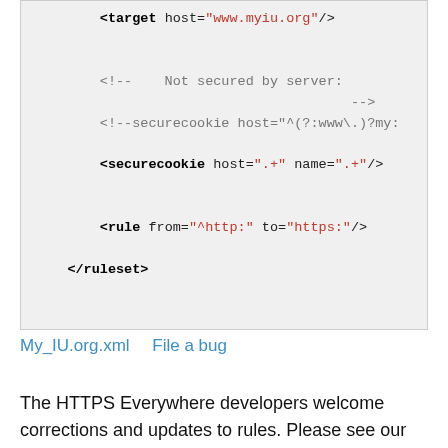[Figure (screenshot): Code block showing XML ruleset snippet with target host, comment, securecookie, and rule elements]
My_IU.org.xml   File a bug
The HTTPS Everywhere developers welcome corrections and updates to rules. Please see our developer information and documentation of the ruleset format. If filing a bug in the Tor Project's Trac bug tracker, you can use the shared username and password cypherpunks / writecode; please ensure that the bug is marked